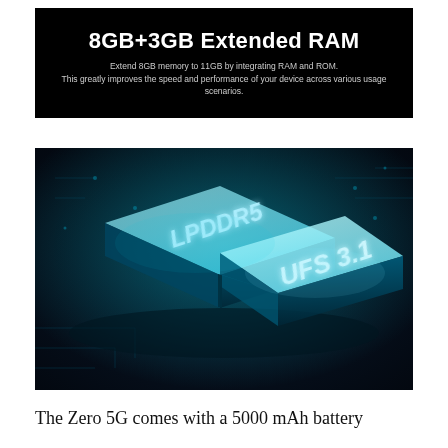[Figure (infographic): Black banner with bold white text '8GB+3GB Extended RAM' and smaller gray text describing extending 8GB memory to 11GB by integrating RAM and ROM, improving speed and performance.]
[Figure (photo): 3D rendered image of a microchip/processor on a circuit board with glowing blue teal lighting. The chip shows 'LPDDR5' on the left memory module and 'UFS 3.1' on the right storage module in italic blue text against a dark tech background.]
The Zero 5G comes with a 5000 mAh battery